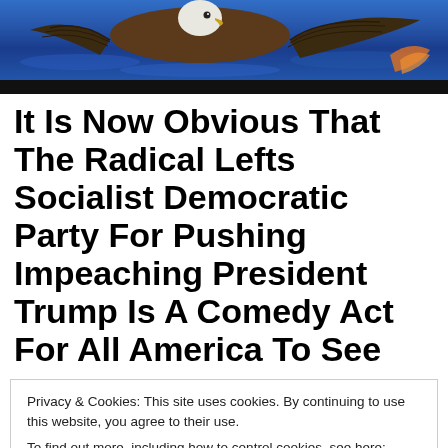[Figure (photo): Header image showing an eagle in flight over blue water background]
It Is Now Obvious That The Radical Lefts Socialist Democratic Party For Pushing Impeaching President Trump Is A Comedy Act For All America To See
Privacy & Cookies: This site uses cookies. By continuing to use this website, you agree to their use.
To find out more, including how to control cookies, see here: Cookie Policy
[Close and accept button]
fact that their hate for Trump supersedes any reality of